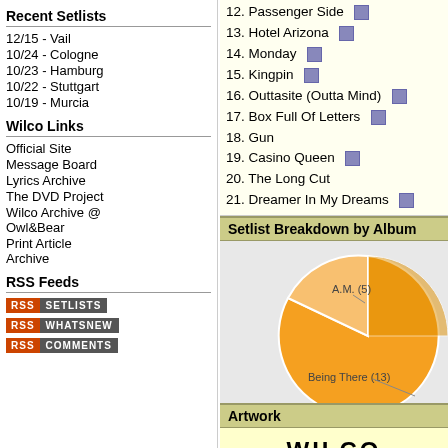Recent Setlists
12/15 - Vail
10/24 - Cologne
10/23 - Hamburg
10/22 - Stuttgart
10/19 - Murcia
Wilco Links
Official Site
Message Board
Lyrics Archive
The DVD Project
Wilco Archive @ Owl&Bear
Print Article Archive
RSS Feeds
RSS SETLISTS
RSS WHATSNEW
RSS COMMENTS
12. Passenger Side
13. Hotel Arizona
14. Monday
15. Kingpin
16. Outtasite (Outta Mind)
17. Box Full Of Letters
18. Gun
19. Casino Queen
20. The Long Cut
21. Dreamer In My Dreams
Setlist Breakdown by Album
[Figure (pie-chart): Setlist Breakdown by Album]
Artwork
[Figure (logo): WILCO logo text]